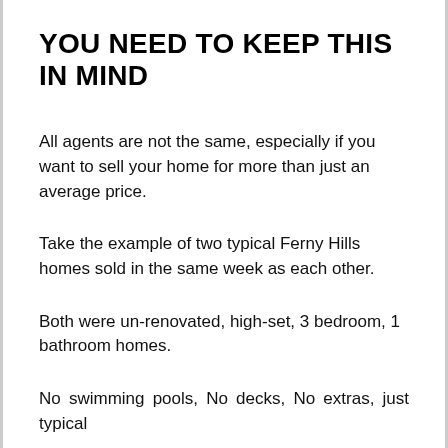YOU NEED TO KEEP THIS IN MIND
All agents are not the same, especially if you want to sell your home for more than just an average price.
Take the example of two typical Ferny Hills homes sold in the same week as each other.
Both were un-renovated, high-set, 3 bedroom, 1 bathroom homes.
No swimming pools, No decks, No extras, just typical